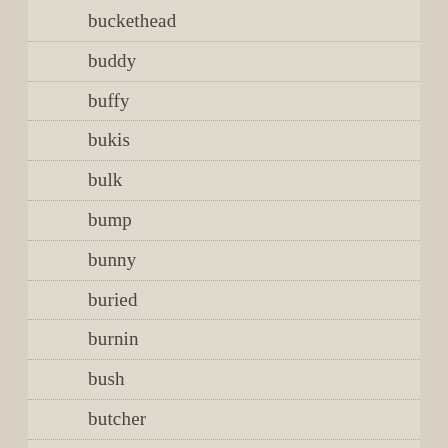buckethead
buddy
buffy
bukis
bulk
bump
bunny
buried
burnin
bush
butcher
buying
byrds
c418
cabinetseparatesreclaimed